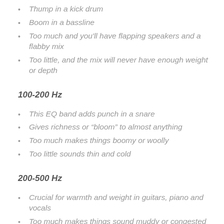Thump in a kick drum
Boom in a bassline
Too much and you'll have flapping speakers and a flabby mix
Too little, and the mix will never have enough weight or depth
100-200 Hz
This EQ band adds punch in a snare
Gives richness or “bloom” to almost anything
Too much makes things boomy or woolly
Too little sounds thin and cold
200-500 Hz
Crucial for warmth and weight in guitars, piano and vocals
Too much makes things sound muddy or congested